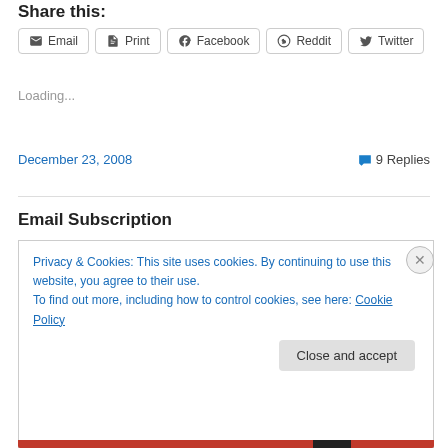Share this:
Email  Print  Facebook  Reddit  Twitter
Loading...
December 23, 2008  9 Replies
Email Subscription
Privacy & Cookies: This site uses cookies. By continuing to use this website, you agree to their use.
To find out more, including how to control cookies, see here: Cookie Policy
Close and accept